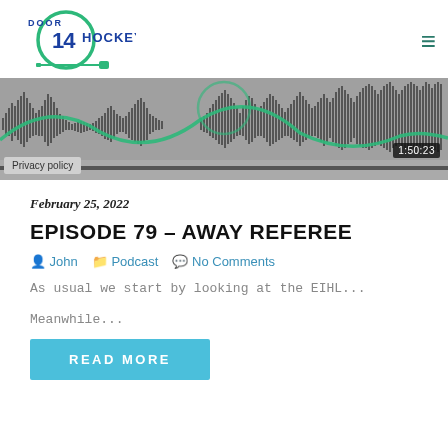[Figure (logo): Door 14 Hockey podcast logo — circular green logo with '14' in blue, text 'DOOR' above and 'HOCKEY' to the right, with a microphone cable graphic below]
[Figure (screenshot): Audio podcast player waveform visualization — dark gray waveform bars on gray background with a green overlay curve, timestamp 1:50:23 in bottom right, Privacy policy badge bottom left]
February 25, 2022
EPISODE 79 – AWAY REFEREE
John   Podcast   No Comments
As usual we start by looking at the EIHL...
Meanwhile...
READ MORE